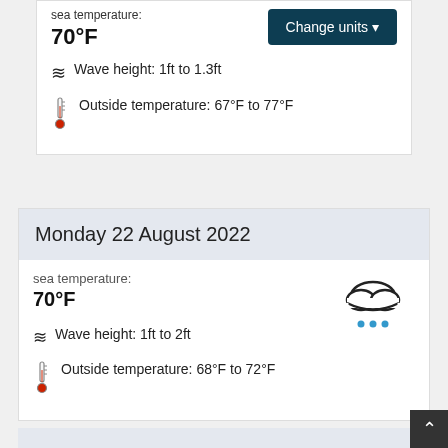sea temperature:
70°F
Change units
Wave height: 1ft to 1.3ft
Outside temperature: 67°F to 77°F
Monday 22 August 2022
sea temperature:
70°F
[Figure (illustration): Cloud with rain drops weather icon]
Wave height: 1ft to 2ft
Outside temperature: 68°F to 72°F